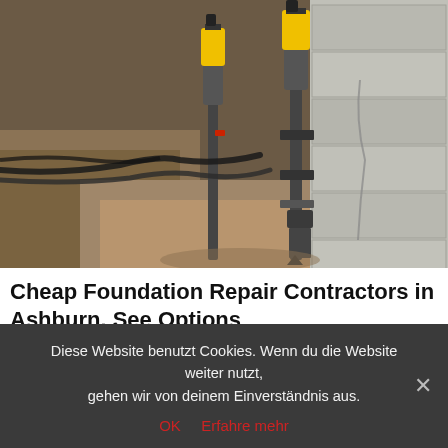[Figure (photo): Construction/foundation repair site photo showing hydraulic piers or helical piers being installed against a concrete foundation wall in an excavated trench. Yellow and black hydraulic equipment visible, concrete block wall on right, cables and hoses in foreground.]
Cheap Foundation Repair Contractors in Ashburn. See Options
Foundation Company | Search Ads
Get Quote
Diese Website benutzt Cookies. Wenn du die Website weiter nutzt, gehen wir von deinem Einverständnis aus.
OK  Erfahre mehr